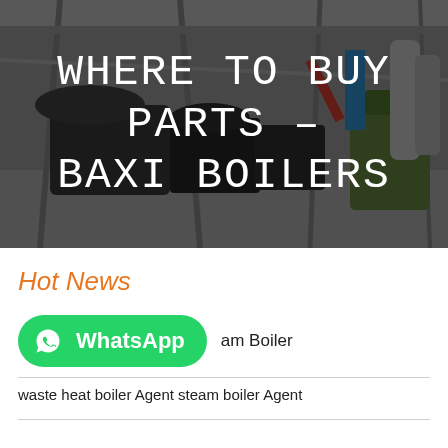[Figure (photo): Industrial boiler manufacturing facility interior with large boiler equipment and overhead cranes, with dark overlay]
WHERE TO BUY PARTS – BAXI BOILERS
Hot News
WhatsApp  am Boiler
waste heat boiler Agent steam boiler Agent